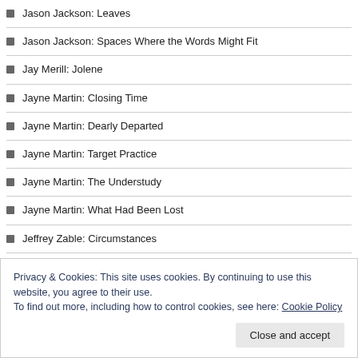Jason Jackson: Leaves
Jason Jackson: Spaces Where the Words Might Fit
Jay Merill: Jolene
Jayne Martin: Closing Time
Jayne Martin: Dearly Departed
Jayne Martin: Target Practice
Jayne Martin: The Understudy
Jayne Martin: What Had Been Lost
Jeffrey Zable: Circumstances
Jen Ippensen: Watched Pot
Jennifer Falkner: The Minimalists
Privacy & Cookies: This site uses cookies. By continuing to use this website, you agree to their use. To find out more, including how to control cookies, see here: Cookie Policy